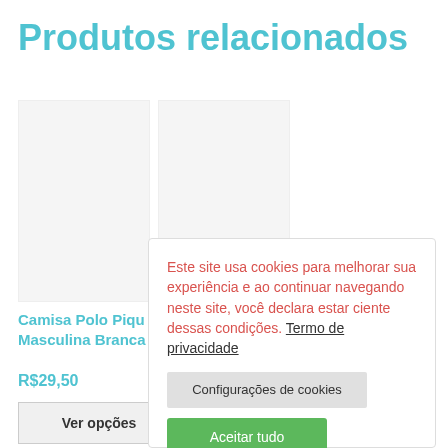Produtos relacionados
Camisa Polo Piqué Masculina Branca
R$29,50
Ver opções
Este site usa cookies para melhorar sua experiência e ao continuar navegando neste site, você declara estar ciente dessas condições. Termo de privacidade
Configurações de cookies
Aceitar tudo